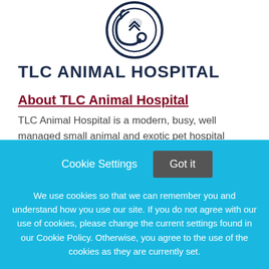[Figure (logo): TLC Animal Hospital logo — circular emblem with a stethoscope and animal silhouette in dark navy blue]
TLC ANIMAL HOSPITAL
About TLC Animal Hospital
TLC Animal Hospital is a modern, busy, well managed small animal and exotic pet hospital located in El Paso, Texas (a great city with a small town feel). TLC was established in 2016 when its current owners purchased an
Cookie Settings   Got it
We use cookies so that we can remember you and understand how you use our site. If you do not agree with our use of cookies, please change the current settings found in our Cookie Policy. Otherwise, you agree to the use of the cookies as they are currently set.